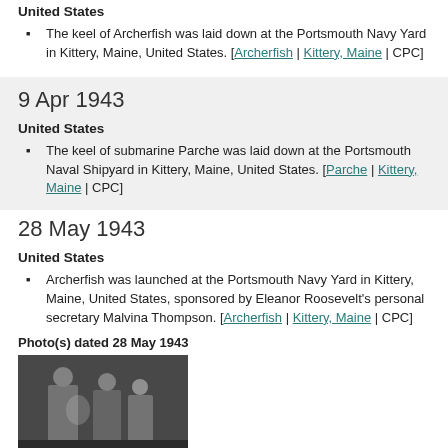United States
The keel of Archerfish was laid down at the Portsmouth Navy Yard in Kittery, Maine, United States. [Archerfish | Kittery, Maine | CPC]
9 Apr 1943
United States
The keel of submarine Parche was laid down at the Portsmouth Naval Shipyard in Kittery, Maine, United States. [Parche | Kittery, Maine | CPC]
28 May 1943
United States
Archerfish was launched at the Portsmouth Navy Yard in Kittery, Maine, United States, sponsored by Eleanor Roosevelt's personal secretary Malvina Thompson. [Archerfish | Kittery, Maine | CPC]
Photo(s) dated 28 May 1943
[Figure (photo): Black and white historical photo of people at the submarine launching ceremony]